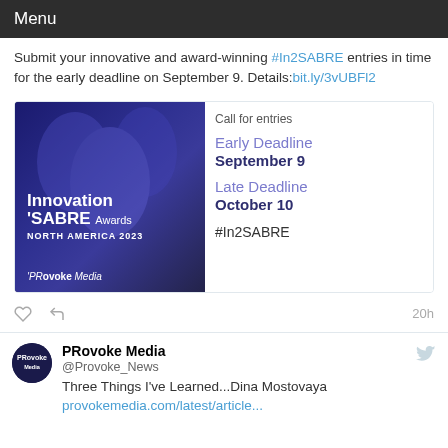Menu
Submit your innovative and award-winning #In2SABRE entries in time for the early deadline on September 9. Details: bit.ly/3vUBFl2
[Figure (illustration): Innovation SABRE Awards North America 2023 promotional card showing award trophies with event deadlines: Early Deadline September 9, Late Deadline October 10, #In2SABRE]
PRovoke Media @Provoke_News Three Things I've Learned...Dina Mostovaya provokemedia.com/latest/article...